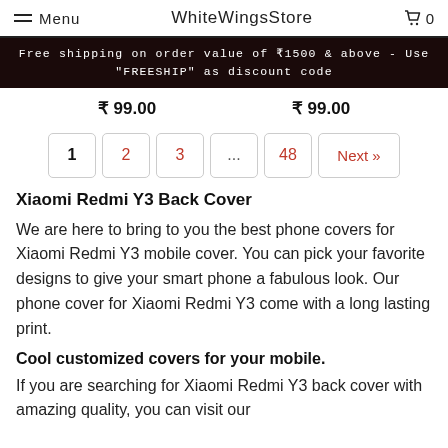Menu  WhiteWingsStore  🛒 0
Free shipping on order value of ₹1500 & above - Use "FREESHIP" as discount code
₹ 99.00   ₹ 99.00
1  2  3  ...  48  Next »
Xiaomi Redmi Y3 Back Cover
We are here to bring to you the best phone covers for Xiaomi Redmi Y3 mobile cover. You can pick your favorite designs to give your smart phone a fabulous look. Our phone cover for Xiaomi Redmi Y3 come with a long lasting print.
Cool customized covers for your mobile.
If you are searching for Xiaomi Redmi Y3 back cover with amazing quality, you can visit our